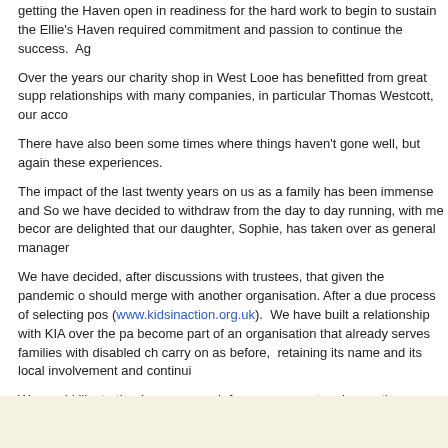getting the Haven open in readiness for the hard work to begin to sustain the Haven. Ellie’s Haven required commitment and passion to continue the success.  Ag
Over the years our charity shop in West Looe has benefitted from great support and relationships with many companies, in particular Thomas Westcott, our acco
There have also been some times where things haven’t gone well, but again these experiences.
The impact of the last twenty years on us as a family has been immense and So we have decided to withdraw from the day to day running, with me becom are delighted that our daughter, Sophie, has taken over as general manager
We have decided, after discussions with trustees, that given the pandemic o should merge with another organisation. After a due process of selecting pos (www.kidsinaction.org.uk).  We have built a relationship with KIA over the pa become part of an organisation that already serves families with disabled ch carry on as before,  retaining its name and its local involvement and continu
We would like to thank you so much for your support and empathy over the y and their families we help really need your support.
Thank You
Nigel Libby
<< Back